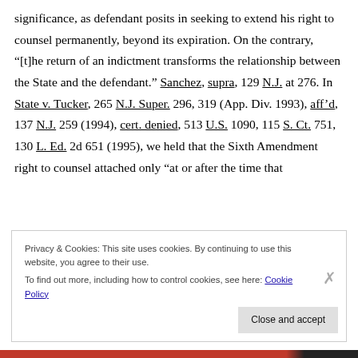significance, as defendant posits in seeking to extend his right to counsel permanently, beyond its expiration. On the contrary, “[t]he return of an indictment transforms the relationship between the State and the defendant.” Sanchez, supra, 129 N.J. at 276. In State v. Tucker, 265 N.J. Super. 296, 319 (App. Div. 1993), aff’d, 137 N.J. 259 (1994), cert. denied, 513 U.S. 1090, 115 S. Ct. 751, 130 L. Ed. 2d 651 (1995), we held that the Sixth Amendment right to counsel attached only “at or after the time that
Privacy & Cookies: This site uses cookies. By continuing to use this website, you agree to their use. To find out more, including how to control cookies, see here: Cookie Policy